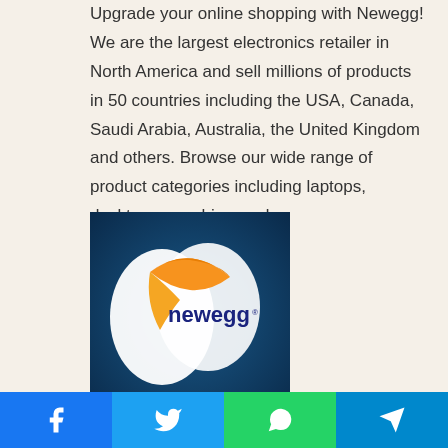Upgrade your online shopping with Newegg! We are the largest electronics retailer in North America and sell millions of products in 50 countries including the USA, Canada, Saudi Arabia, Australia, the United Kingdom and others. Browse our wide range of product categories including laptops, desktops, graphics card,
[Figure (logo): Newegg logo on dark blue background with orange and white swoosh shapes and 'newegg' text in dark blue]
Similarity Rate : 73 %
Facebook | Twitter | WhatsApp | Telegram